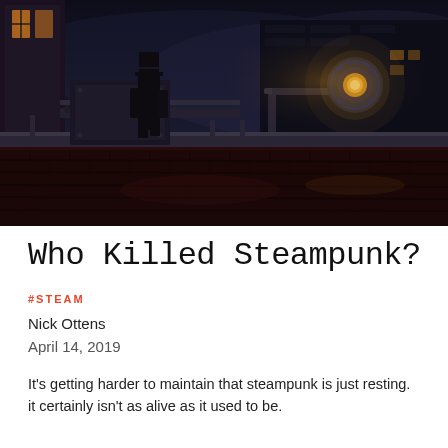[Figure (photo): Dark steampunk scene showing a silhouetted figure in a top hat standing on a foggy industrial platform or rooftop at night, with a large glowing lamp or searchlight visible to the right, industrial cityscape in the background with brick walls and dark atmosphere]
Who Killed Steampunk?
#STEAM
Nick Ottens
April 14, 2019
It's getting harder to maintain that steampunk is just resting. it certainly isn't as alive as it used to be.